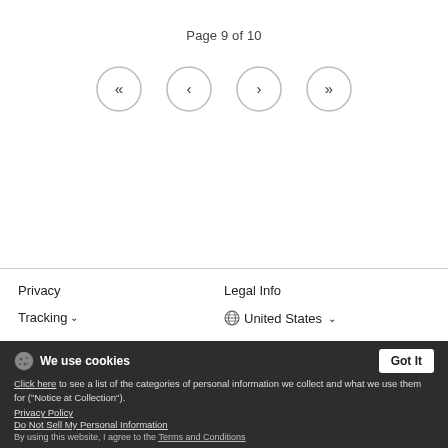Page 9 of 10
[Figure (other): Pagination navigation buttons: double-left arrow, single-left arrow, single-right arrow, double-right arrow, each in a circle]
Privacy
Legal Info
Tracking ∨
🌐 United States ∨
Copyright information
Terms & Conditions
Help
Shipping costs and shipping times
service@spreadshirt.com
9815(Mon - Fri: 8am - 7pm ET)
We use cookies
Click here to see a list of the categories of personal information we collect and what we use them for ("Notice at Collection").
Privacy Policy
Do Not Sell My Personal Information
By using this website, I agree to the Terms and Conditions